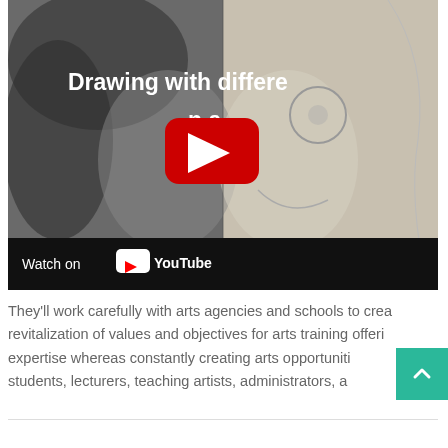[Figure (screenshot): YouTube video thumbnail showing 'Drawing with differe...' with a YouTube play button overlay and 'Watch on YouTube' bar at the bottom. The thumbnail shows a split image of a woman's face — one half is a realistic photo, the other half is a pencil sketch drawing.]
They'll work carefully with arts agencies and schools to crea... revitalization of values and objectives for arts training offeri... expertise whereas constantly creating arts opportunities for students, lecturers, teaching artists, administrators, a...